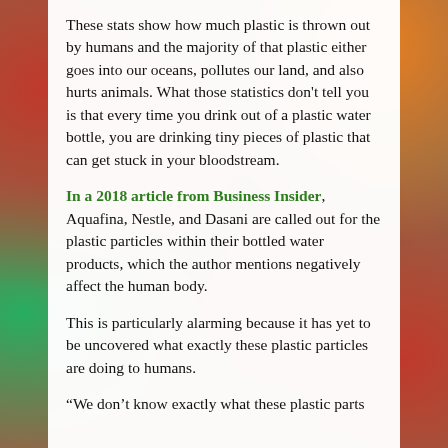These stats show how much plastic is thrown out by humans and the majority of that plastic either goes into our oceans, pollutes our land, and also hurts animals. What those statistics don't tell you is that every time you drink out of a plastic water bottle, you are drinking tiny pieces of plastic that can get stuck in your bloodstream.
In a 2018 article from Business Insider, Aquafina, Nestle, and Dasani are called out for the plastic particles within their bottled water products, which the author mentions negatively affect the human body.
This is particularly alarming because it has yet to be uncovered what exactly these plastic particles are doing to humans.
“We don’t know exactly what these plastic parts